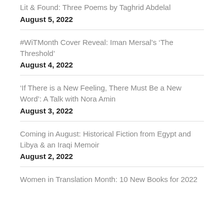Lit & Found: Three Poems by Taghrid Abdelal
August 5, 2022
#WiTMonth Cover Reveal: Iman Mersal’s ‘The Threshold’
August 4, 2022
‘If There is a New Feeling, There Must Be a New Word’: A Talk with Nora Amin
August 3, 2022
Coming in August: Historical Fiction from Egypt and Libya & an Iraqi Memoir
August 2, 2022
Women in Translation Month: 10 New Books for 2022